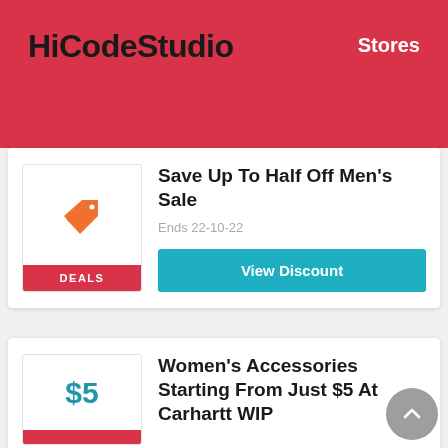HiCodeStudio   Stores
Save Up To Half Off Men's Sale
Ends 22-10-22
View Discount
Women's Accessories Starting From Just $5 At Carhartt WIP